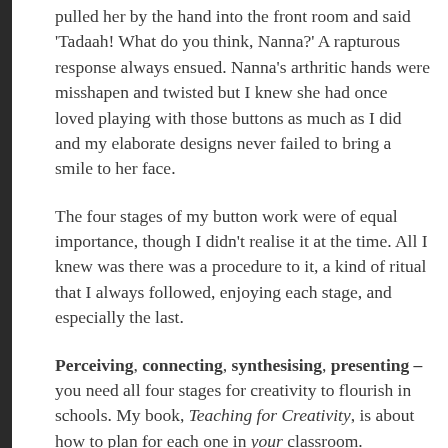pulled her by the hand into the front room and said 'Tadaah! What do you think, Nanna?' A rapturous response always ensued. Nanna's arthritic hands were misshapen and twisted but I knew she had once loved playing with those buttons as much as I did and my elaborate designs never failed to bring a smile to her face.
The four stages of my button work were of equal importance, though I didn't realise it at the time. All I knew was there was a procedure to it, a kind of ritual that I always followed, enjoying each stage, and especially the last.
Perceiving, connecting, synthesising, presenting – you need all four stages for creativity to flourish in schools. My book, Teaching for Creativity, is about how to plan for each one in your classroom.
Teaching for Creativity is the second title in the Invisible